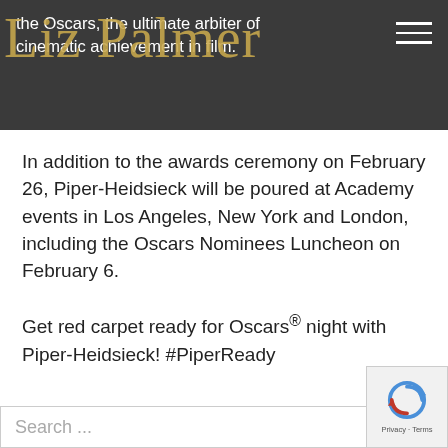the Oscars, the ultimate arbiter of cinematic achievement in film.
[Figure (logo): Liz Palmer script/cursive logo in gold color overlaid on dark header bar]
In addition to the awards ceremony on February 26, Piper-Heidsieck will be poured at Academy events in Los Angeles, New York and London, including the Oscars Nominees Luncheon on February 6.
Get red carpet ready for Oscars® night with Piper-Heidsieck! #PiperReady
[Figure (other): Google reCAPTCHA badge with spinning arrow icon and Privacy · Terms text]
Search ...